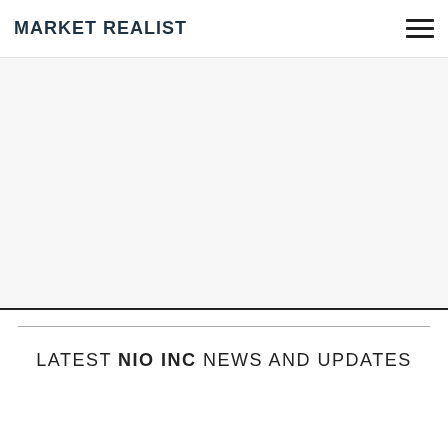MARKET REALIST
LATEST NIO INC NEWS AND UPDATES